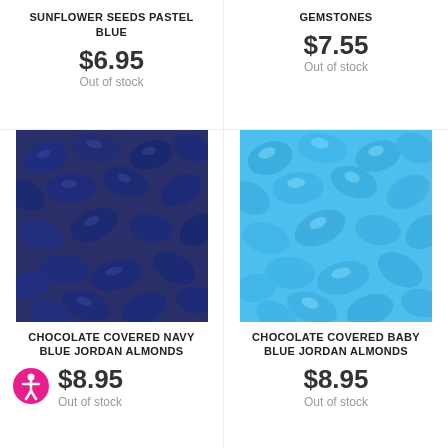SUNFLOWER SEEDS PASTEL BLUE
$6.95
Out of stock
GEMSTONES
$7.55
Out of stock
[Figure (photo): Close-up of dark navy blue chocolate covered Jordan almonds/sunflower seeds]
[Figure (photo): Close-up of bright baby blue chocolate covered Jordan almonds/gemstones]
CHOCOLATE COVERED NAVY BLUE JORDAN ALMONDS
$8.95
Out of stock
CHOCOLATE COVERED BABY BLUE JORDAN ALMONDS
$8.95
Out of stock